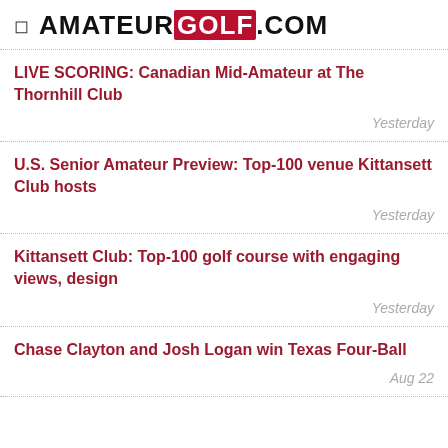AMATEUR GOLF .COM
LIVE SCORING: Canadian Mid-Amateur at The Thornhill Club
Yesterday
U.S. Senior Amateur Preview: Top-100 venue Kittansett Club hosts
Yesterday
Kittansett Club: Top-100 golf course with engaging views, design
Yesterday
Chase Clayton and Josh Logan win Texas Four-Ball
Aug 22